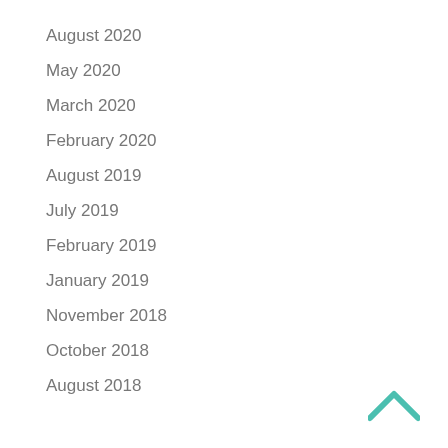August 2020
May 2020
March 2020
February 2020
August 2019
July 2019
February 2019
January 2019
November 2018
October 2018
August 2018
[Figure (illustration): Teal/turquoise upward-pointing chevron arrow icon in bottom right corner]